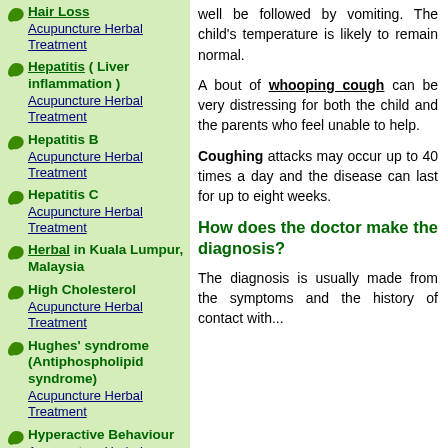Hair Loss Acupuncture Herbal Treatment
Hepatitis ( Liver inflammation ) Acupuncture Herbal Treatment
Hepatitis B Acupuncture Herbal Treatment
Hepatitis C Acupuncture Herbal Treatment
Herbal in Kuala Lumpur, Malaysia
High Cholesterol Acupuncture Herbal Treatment
Hughes' syndrome (Antiphospholipid syndrome) Acupuncture Herbal Treatment
Hyperactive Behaviour Acupuncture Herbal
well be followed by vomiting. The child's temperature is likely to remain normal.
A bout of whooping cough can be very distressing for both the child and the parents who feel unable to help.
Coughing attacks may occur up to 40 times a day and the disease can last for up to eight weeks.
How does the doctor make the diagnosis?
The diagnosis is usually made from the symptoms and the history of contact with...